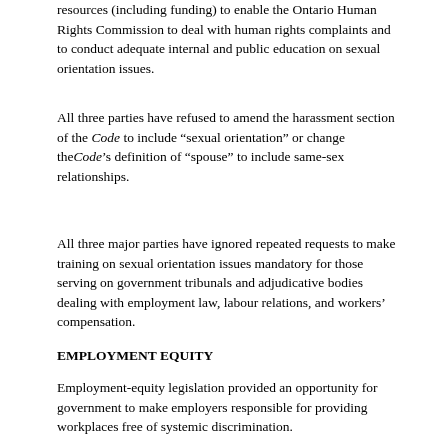resources (including funding) to enable the Ontario Human Rights Commission to deal with human rights complaints and to conduct adequate internal and public education on sexual orientation issues.
All three parties have refused to amend the harassment section of the Code to include “sexual orientation” or change the Code’s definition of “spouse” to include same-sex relationships.
All three major parties have ignored repeated requests to make training on sexual orientation issues mandatory for those serving on government tribunals and adjudicative bodies dealing with employment law, labour relations, and workers’ compensation.
EMPLOYMENT EQUITY
Employment-equity legislation provided an opportunity for government to make employers responsible for providing workplaces free of systemic discrimination.